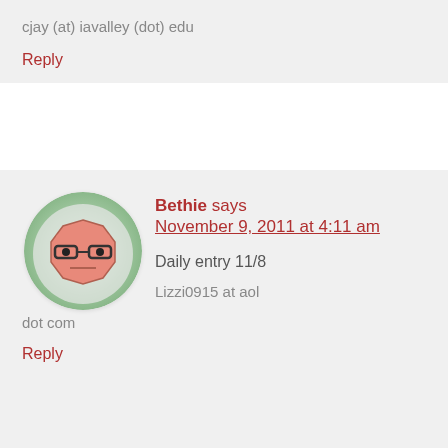cjay (at) iavalley (dot) edu
Reply
Bethie says November 9, 2011 at 4:11 am
[Figure (illustration): Avatar of a cartoon blocky face with glasses on a green circular background]
Daily entry 11/8
Lizzi0915 at aol dot com
Reply